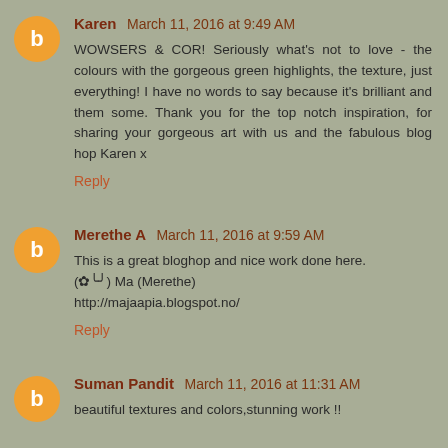Karen March 11, 2016 at 9:49 AM
WOWSERS & COR! Seriously what's not to love - the colours with the gorgeous green highlights, the texture, just everything! I have no words to say because it's brilliant and them some. Thank you for the top notch inspiration, for sharing your gorgeous art with us and the fabulous blog hop Karen x
Reply
Merethe A March 11, 2016 at 9:59 AM
This is a great bloghop and nice work done here.
(✿╰╯) Ma (Merethe)
http://majaapia.blogspot.no/
Reply
Suman Pandit March 11, 2016 at 11:31 AM
beautiful textures and colors,stunning work !!